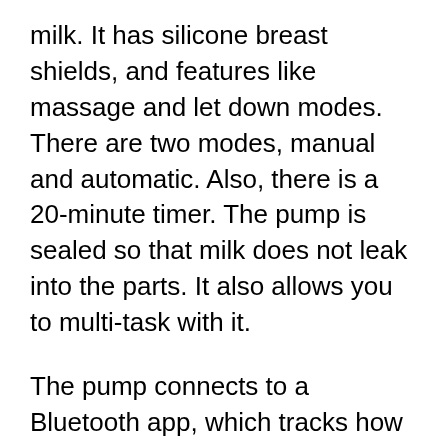milk. It has silicone breast shields, and features like massage and let down modes. There are two modes, manual and automatic. Also, there is a 20-minute timer. The pump is sealed so that milk does not leak into the parts. It also allows you to multi-task with it.
The pump connects to a Bluetooth app, which tracks how much milk you are producing and when. Although it isn't discreet, it is more discreet than others. It has two-phase expression and a let-down button, which are both helpful for discreet pumping. This pump has three parts and is dishwasher-safe. A warranty of seven days is offered, which is not sufficient to cover defects.